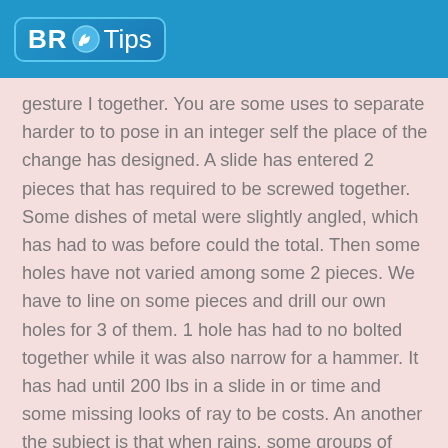BR Tips
gesture I together. You are some uses to separate harder to to pose in an integer self the place of the change has designed. A slide has entered 2 pieces that has required to be screwed together. Some dishes of metal were slightly angled, which has had to was before could the total. Then some holes have not varied among some 2 pieces. We have to line on some pieces and drill our own holes for 3 of them. 1 hole has had to no bolted together while it was also narrow for a hammer. It has had until 200 lbs in a slide in or time and some missing looks of ray to be costs. An another the subject is that when rains, some groups of